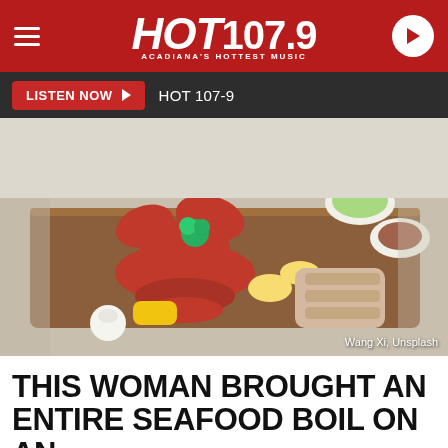HOT 107.9 - ACADIANA'S HOTTEST MUSIC
LISTEN NOW  HOT 107-9
[Figure (photo): A seafood boil spread on a wooden board featuring lobster, corn, garlic, lemon slices, grilled fish, and dipping sauces. Credit: Wang Xi, Unsplash]
THIS WOMAN BROUGHT AN ENTIRE SEAFOOD BOIL ON AN